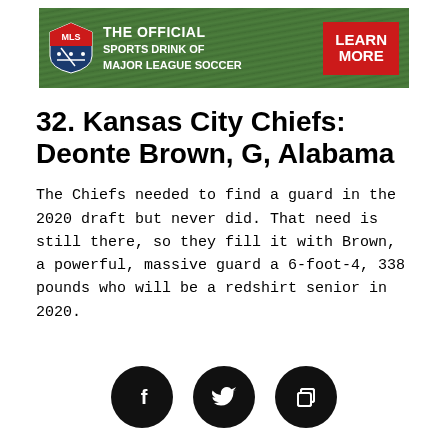[Figure (infographic): MLS advertisement banner: shield logo on green grass background, text 'THE OFFICIAL SPORTS DRINK OF MAJOR LEAGUE SOCCER', red button 'LEARN MORE']
32. Kansas City Chiefs: Deonte Brown, G, Alabama
The Chiefs needed to find a guard in the 2020 draft but never did. That need is still there, so they fill it with Brown, a powerful, massive guard a 6-foot-4, 338 pounds who will be a redshirt senior in 2020.
[Figure (infographic): Three social media icon buttons: Facebook (f), Twitter (bird), and copy/share icon, each in black circles]